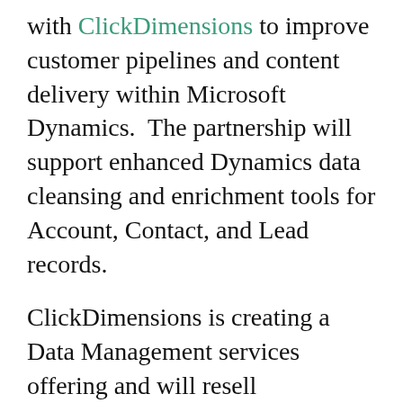with ClickDimensions to improve customer pipelines and content delivery within Microsoft Dynamics.  The partnership will support enhanced Dynamics data cleansing and enrichment tools for Account, Contact, and Lead records.
ClickDimensions is creating a Data Management services offering and will resell InsideView products and DaaS solutions for Dynamics.  ClickDimensions plans to exclusively sell these services as an add-on to their current product line and as part of a premium offering.  ClickDimensions will also provide data advisory services.
ClickDimensions will be rolling out a product suite of native MS Dynamics hygiene and